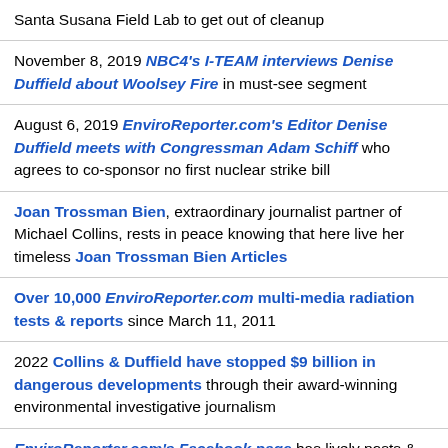Santa Susana Field Lab to get out of cleanup
November 8, 2019 NBC4's I-TEAM interviews Denise Duffield about Woolsey Fire in must-see segment
August 6, 2019 EnviroReporter.com's Editor Denise Duffield meets with Congressman Adam Schiff who agrees to co-sponsor no first nuclear strike bill
Joan Trossman Bien, extraordinary journalist partner of Michael Collins, rests in peace knowing that here live her timeless Joan Trossman Bien Articles
Over 10,000 EnviroReporter.com multi-media radiation tests & reports since March 11, 2011
2022 Collins & Duffield have stopped $9 billion in dangerous developments through their award-winning environmental investigative journalism
EnviroReporter.com's Facebook page has lively posts & discussion